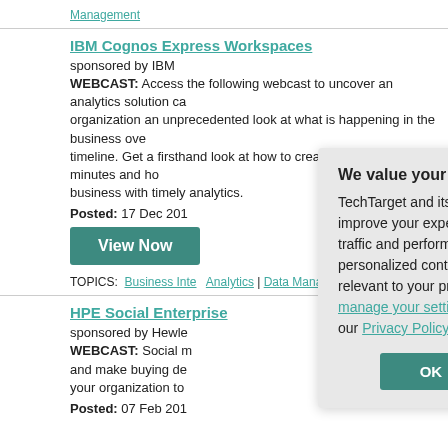Management
IBM Cognos Express Workspaces
sponsored by IBM
WEBCAST: Access the following webcast to uncover an analytics solution can organization an unprecedented look at what is happening in the business over timeline. Get a firsthand look at how to create workspaces in minutes and how business with timely analytics.
Posted: 17 Dec 201
View Now
TOPICS: Business Inte | Analytics | Data Manage
HPE Social Enterprise
sponsored by Hewle
WEBCAST: Social m and make buying de your organization to
Posted: 07 Feb 201
We value your privacy. TechTarget and its partners employ cookies to improve your experience on our site, to analyze traffic and performance, and to serve personalized content and advertising that are relevant to your professional interests. You can manage your settings at any time. Please view our Privacy Policy for more information